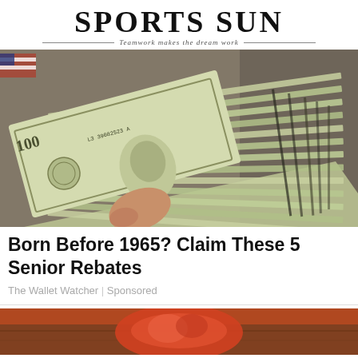SPORTS SUN — Teamwork makes the dream work
[Figure (photo): A hand holding a large stack of $100 bills fanned out, photographed close up on a granite surface with an American flag visible in the background.]
Born Before 1965? Claim These 5 Senior Rebates
The Wallet Watcher | Sponsored
[Figure (photo): Partial image of food or a bag of snacks on a wooden surface, partially visible at the bottom of the page.]